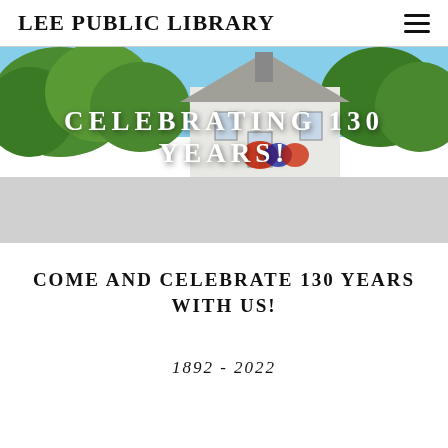LEE PUBLIC LIBRARY
[Figure (photo): Exterior photo of Lee Public Library building, a white colonial-style building with trees in the background and patriotic bunting/flags visible. Overlaid with text 'CELEBRATING 130 YEARS!' in white bold letters. Lower portion fades to gray.]
COME AND CELEBRATE 130 YEARS WITH US!
1892 - 2022